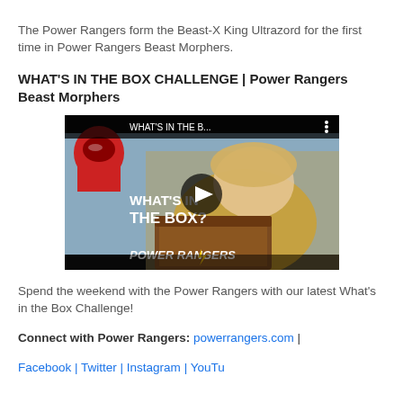The Power Rangers form the Beast-X King Ultrazord for the first time in Power Rangers Beast Morphers.
WHAT'S IN THE BOX CHALLENGE | Power Rangers Beast Morphers
[Figure (screenshot): YouTube video thumbnail showing a woman holding a box with text 'WHAT'S IN THE BOX?' and Power Rangers logo. Video title bar reads 'WHAT'S IN THE B...' with a play button in the center.]
Spend the weekend with the Power Rangers with our latest What's in the Box Challenge!
Connect with Power Rangers: powerrangers.com | Facebook | Twitter | Instagram | YouTube